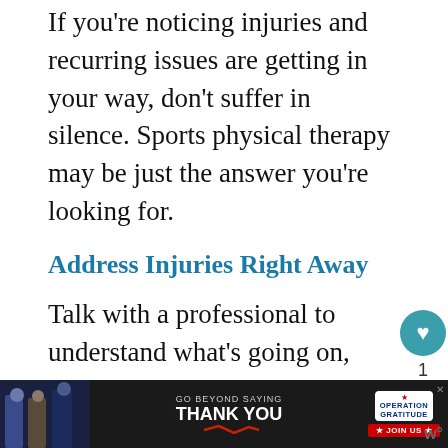If you're noticing injuries and recurring issues are getting in your way, don't suffer in silence. Sports physical therapy may be just the answer you're looking for.
Address Injuries Right Away
Talk with a professional to understand what's going on, and what you can do about it. A physical therapist is often called a physiotherapist.
If you've had a chance to work with a PT,
[Figure (other): Advertisement banner: GO BEYOND SAYING THANK YOU — Operation Gratitude — JOIN US]
[Figure (other): Social interaction buttons: heart/like button with count 1, share button]
[Figure (other): WHAT'S NEXT widget showing Amazing Passion Frui... with thumbnail]